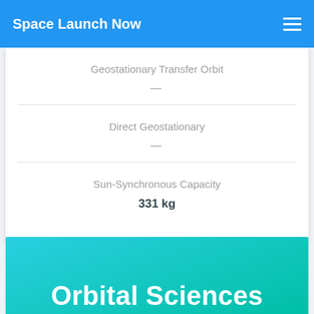Space Launch Now
Geostationary Transfer Orbit
—
Direct Geostationary
—
Sun-Synchronous Capacity
331 kg
Orbital Sciences